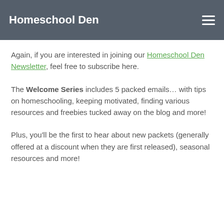Homeschool Den
Again, if you are interested in joining our Homeschool Den Newsletter, feel free to subscribe here.
The Welcome Series includes 5 packed emails… with tips on homeschooling, keeping motivated, finding various resources and freebies tucked away on the blog and more!
Plus, you'll be the first to hear about new packets (generally offered at a discount when they are first released), seasonal resources and more!